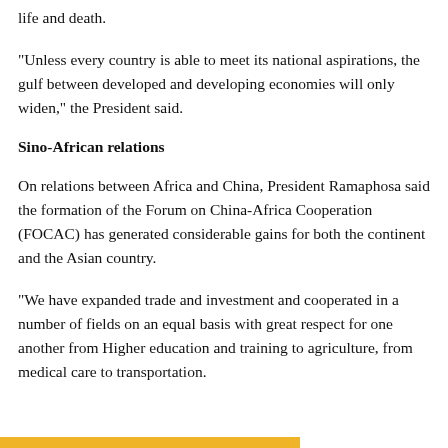life and death.
“Unless every country is able to meet its national aspirations, the gulf between developed and developing economies will only widen,” the President said.
Sino-African relations
On relations between Africa and China, President Ramaphosa said the formation of the Forum on China-Africa Cooperation (FOCAC) has generated considerable gains for both the continent and the Asian country.
“We have expanded trade and investment and cooperated in a number of fields on an equal basis with great respect for one another from Higher education and training to agriculture, from medical care to transportation.